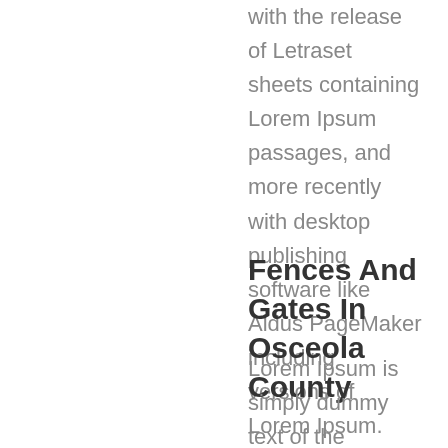with the release of Letraset sheets containing Lorem Ipsum passages, and more recently with desktop publishing software like Aldus PageMaker including versions of Lorem Ipsum.
Fences And Gates In Osceola County
Lorem Ipsum is simply dummy text of the printing and typesetting industry. Lorem Ipsum has been the industry's standard dummy